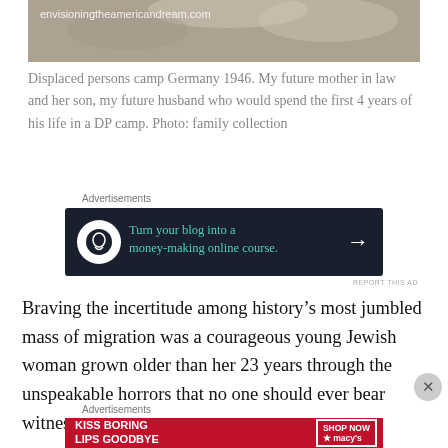[Figure (photo): Black and white photograph from a displaced persons camp, Germany 1946. Shows a woman and child. Watermark: envisioningtheamericandream.com]
Displaced persons camp Germany 1946. My future mother in law and her son, my future husband who would spend the first 4 years of his life in a DP camp. Photo: family collection
[Figure (screenshot): Advertisement: Turn your blog into a money-making online course. Dark navy background with white circle logo and teal text and arrow.]
Braving the incertitude among history’s most jumbled mass of migration was a courageous young Jewish woman grown older than her 23 years through the unspeakable horrors that no one should ever bear witness
[Figure (screenshot): Advertisement: Kiss Boring Lips Goodbye. Macy’s ad with red background, woman's face, Shop Now button.]